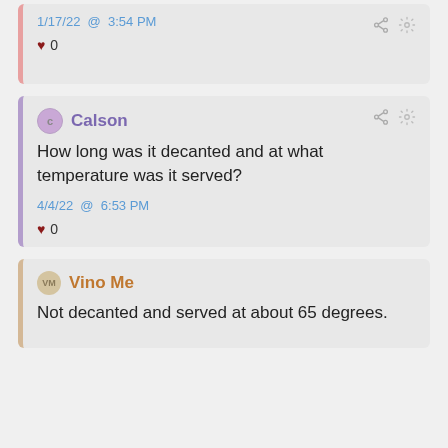1/17/22 @ 3:54 PM
♥ 0
Calson
How long was it decanted and at what temperature was it served?
4/4/22 @ 6:53 PM
♥ 0
Vino Me
Not decanted and served at about 65 degrees.